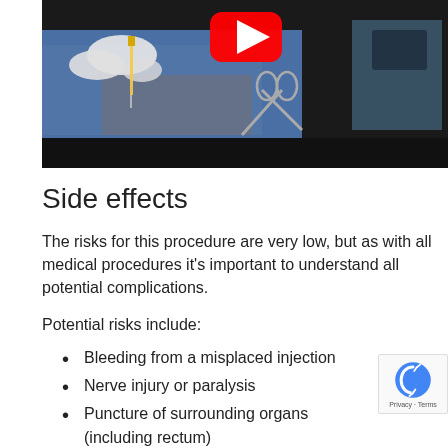[Figure (screenshot): YouTube video thumbnail showing a medical/surgical procedure with gloved hands holding a needle/syringe over a patient with blue drape, scissors visible, with YouTube play button overlay]
Side effects
The risks for this procedure are very low, but as with all medical procedures it's important to understand all potential complications.
Potential risks include:
Bleeding from a misplaced injection
Nerve injury or paralysis
Puncture of surrounding organs (including rectum)